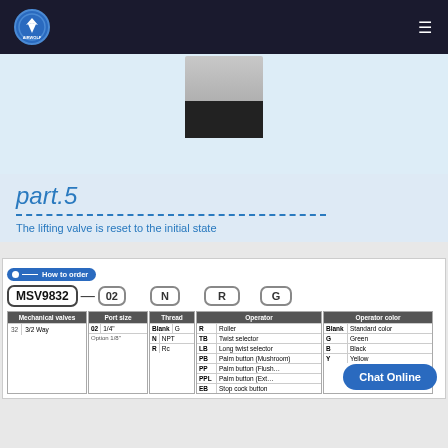[Figure (photo): Airwolf logo and navigation bar with hamburger menu on dark background]
[Figure (photo): Product image of mechanical valve component, gray metallic top with black base]
part.5
The lifting valve is reset to the initial state
How to order
| Mechanical valves | Port size | Thread | Operator | Operator color |
| --- | --- | --- | --- | --- |
| 32 | 3/2 Way | 02 1/4"
Option 1/8" | Blank G
N NPT
R Rc | R Roller
TB Twist selector
LB Long twist selector
PB Palm button (Mushroom)
PP Palm button (Flush)
PPL Palm button (Extended)
EB Stop cock button | Blank Standard color
G Green
B Black
Y Yellow |